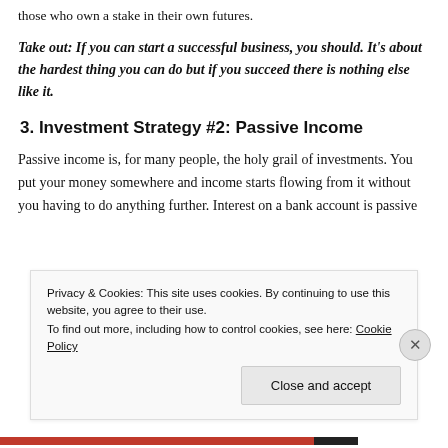those who own a stake in their own futures.
Take out: If you can start a successful business, you should. It's about the hardest thing you can do but if you succeed there is nothing else like it.
3. Investment Strategy #2: Passive Income
Passive income is, for many people, the holy grail of investments. You put your money somewhere and income starts flowing from it without you having to do anything further. Interest on a bank account is passive
Privacy & Cookies: This site uses cookies. By continuing to use this website, you agree to their use.
To find out more, including how to control cookies, see here: Cookie Policy
Close and accept